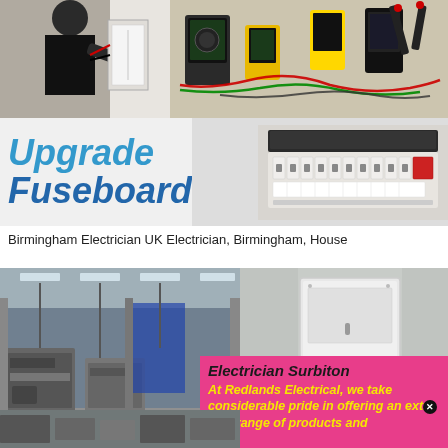[Figure (photo): Top left: electrician working on electrical panel/fuseboard installation]
[Figure (photo): Top right: electrical testing equipment and meters laid out on carpet with cables]
[Figure (infographic): Upgrade Fuseboard banner with large blue text on grey background and image of consumer unit/fuseboard]
Birmingham Electrician UK Electrician, Birmingham, House
[Figure (photo): Bottom left: industrial factory floor with machinery and equipment]
[Figure (photo): Top right of bottom section: white electrical consumer unit/panel on wall]
[Figure (infographic): Pink overlay: Electrician Surbiton - At Redlands Electrical, we take considerable pride in offering an extensive range of products and...]
[Figure (photo): Bottom strip: partial photo of equipment]